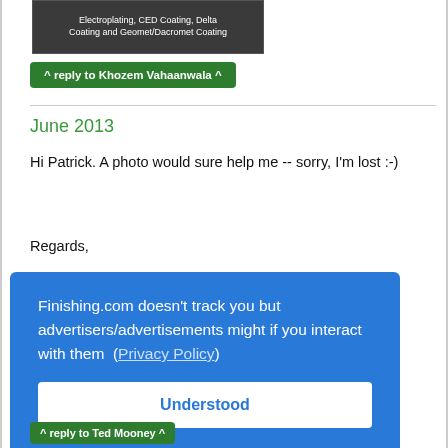[Figure (screenshot): Dark image thumbnail with white text reading 'Electroplating, CED Coating, Delta Coating and Geomet/Dacromet Coating']
^ reply to Khozem Vahaanwala ^
June 2013
Hi Patrick. A photo would sure help me -- sorry, I'm lost :-)
Regards,
[Figure (photo): Partial blue/grey image partially obscured by privacy overlay]
Finishing.com doesn't track you but advertisers/advertisements might if you interact with them  (Privacy Policy)
Understood
^ reply to Ted Mooney ^